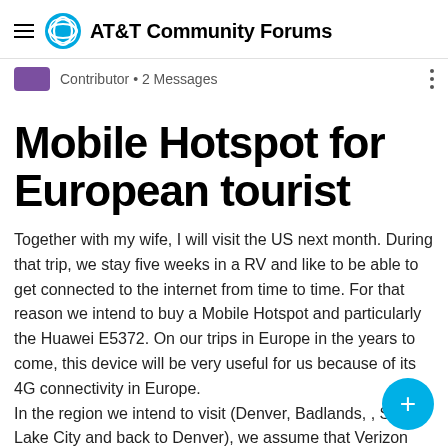AT&T Community Forums
Contributor • 2 Messages
Mobile Hotspot for European tourist
Together with my wife, I will visit the US next month. During that trip, we stay five weeks in a RV and like to be able to get connected to the internet from time to time. For that reason we intend to buy a Mobile Hotspot and particularly the Huawei E5372. On our trips in Europe in the years to come, this device will be very useful for us because of its 4G connectivity in Europe.
In the region we intend to visit (Denver, Badlands, , Salt Lake City and back to Denver), we assume that Verizon has the best coverage. Unfortunately Verizon uses the CDMA protocol and does not support GSM. A mobile hotspot based on CDMA is useless in